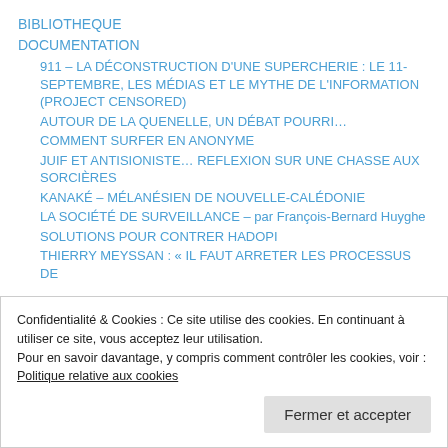BIBLIOTHEQUE
DOCUMENTATION
911 – LA DÉCONSTRUCTION D'UNE SUPERCHERIE : LE 11-SEPTEMBRE, LES MÉDIAS ET LE MYTHE DE L'INFORMATION (PROJECT CENSORED)
AUTOUR DE LA QUENELLE, UN DÉBAT POURRI…
COMMENT SURFER EN ANONYME
JUIF ET ANTISIONISTE… REFLEXION SUR UNE CHASSE AUX SORCIÈRES
KANAKÉ – MÉLANÉSIEN DE NOUVELLE-CALÉDONIE
LA SOCIÉTÉ DE SURVEILLANCE – par François-Bernard Huyghe
SOLUTIONS POUR CONTRER HADOPI
THIERRY MEYSSAN : « IL FAUT ARRETER LES PROCESSUS DE
Confidentialité & Cookies : Ce site utilise des cookies. En continuant à utiliser ce site, vous acceptez leur utilisation.
Pour en savoir davantage, y compris comment contrôler les cookies, voir :
Politique relative aux cookies
Fermer et accepter